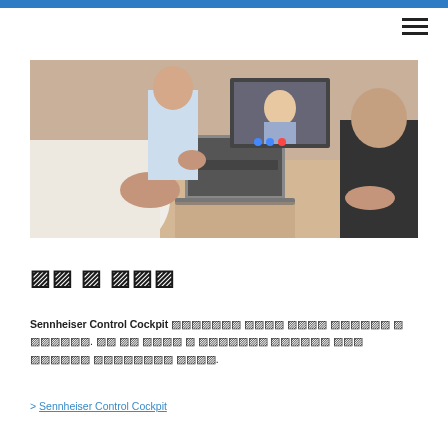[Figure (photo): Business meeting scene with people sitting at a table with laptops, and a video conference screen in the background showing a person smiling.]
원격 및 하이브리드
Sennheiser Control Cockpit 소프트웨어를 사용하면 어디서나 기기를쉽게 구성 및 관리할수 있습니다. 이를 통해 운영자는 전 네트워크에서 기기상태를 원격 모니터링 및원격지원을 할수있습니다.
> Sennheiser Control Cockpit